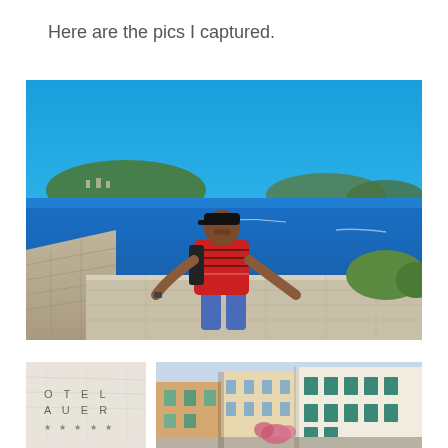Here are the pics I captured.
[Figure (photo): A man in a red and black striped shirt and cap, sitting on a stone wall with a breathtaking panoramic view of a blue Mediterranean bay, harbor, and island in the background under a clear blue sky.]
[Figure (photo): Bottom-left: A hotel sign reading 'OTEL AUER' with star rating symbols on a light stone or marble surface.]
[Figure (photo): Bottom-right: A narrow European street or alley with colorful Mediterranean buildings, balconies, and a pink flower arrangement visible.]